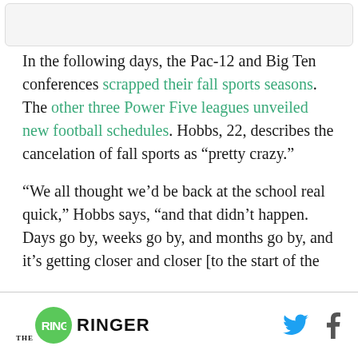In the following days, the Pac-12 and Big Ten conferences scrapped their fall sports seasons. The other three Power Five leagues unveiled new football schedules. Hobbs, 22, describes the cancelation of fall sports as "pretty crazy."
“We all thought we’d be back at the school real quick,” Hobbs says, “and that didn’t happen. Days go by, weeks go by, and months go by, and it’s getting closer and closer [to the start of the
THE RINGER